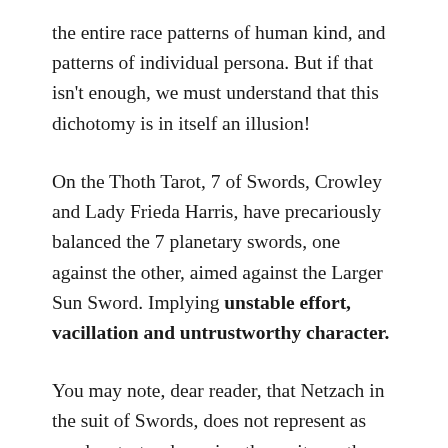the entire race patterns of human kind, and patterns of individual persona. But if that isn't enough, we must understand that this dichotomy is in itself an illusion!
On the Thoth Tarot, 7 of Swords, Crowley and Lady Frieda Harris, have precariously balanced the 7 planetary swords, one against the other, aimed against the Larger Sun Sword. Implying unstable effort, vacillation and untrustworthy character.
You may note, dear reader, that Netzach in the suit of Swords, does not represent as much catastrophe as in other suits, as the Sephiroth of Venus means